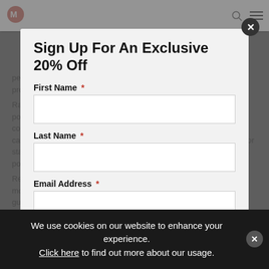Sign Up For An Exclusive 20% Off
First Name *
Last Name *
Email Address *
Send me offers and news. I understand Maximuscle will use my personal data to improve services and send me marketing communications, I also agree to the Privacy Policy. *
We use cookies on our website to enhance your experience. Click here to find out more about our usage.